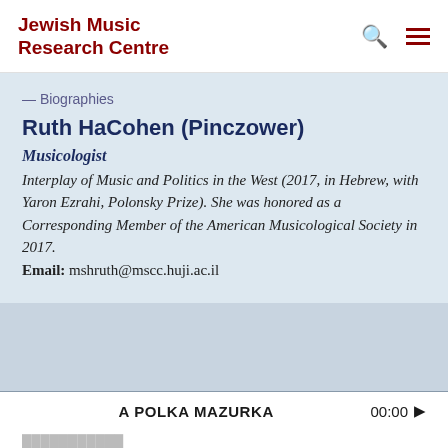Jewish Music Research Centre
— Biographies
Ruth HaCohen (Pinczower)
Musicologist
Interplay of Music and Politics in the West (2017, in Hebrew, with Yaron Ezrahi, Polonsky Prize). She was honored as a Corresponding Member of the American Musicological Society in 2017.
Email: mshruth@mscc.huji.ac.il
A POLKA MAZURKA   00:00
History and Goals